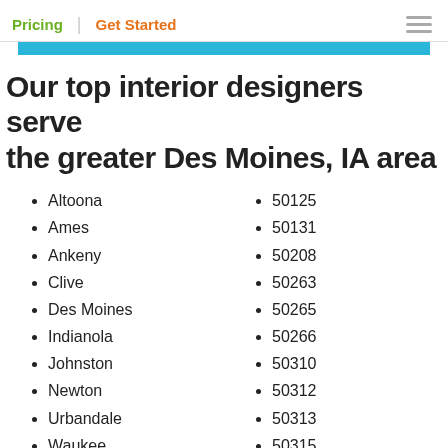Pricing | Get Started
Our top interior designers serve the greater Des Moines, IA area
Altoona
Ames
Ankeny
Clive
Des Moines
Indianola
Johnston
Newton
Urbandale
Waukee
West Des Moines
50009
50125
50131
50208
50263
50265
50266
50310
50312
50313
50315
50316
50317